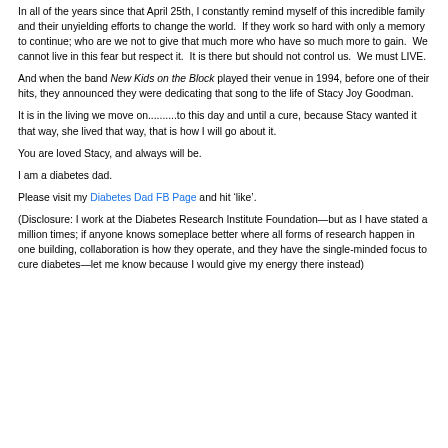In all of the years since that April 25th, I constantly remind myself of this incredible family and their unyielding efforts to change the world.  If they work so hard with only a memory to continue; who are we not to give that much more who have so much more to gain.  We cannot live in this fear but respect it.  It is there but should not control us.  We must LIVE.
And when the band New Kids on the Block played their venue in 1994, before one of their hits, they announced they were dedicating that song to the life of Stacy Joy Goodman.
It is in the living we move on..........to this day and until a cure, because Stacy wanted it that way, she lived that way, that is how I will go about it.
You are loved Stacy, and always will be.
I am a diabetes dad.
Please visit my Diabetes Dad FB Page and hit ‘like’.
(Disclosure: I work at the Diabetes Research Institute Foundation—but as I have stated a million times; if anyone knows someplace better where all forms of research happen in one building, collaboration is how they operate, and they have the single-minded focus to cure diabetes—let me know because I would give my energy there instead)